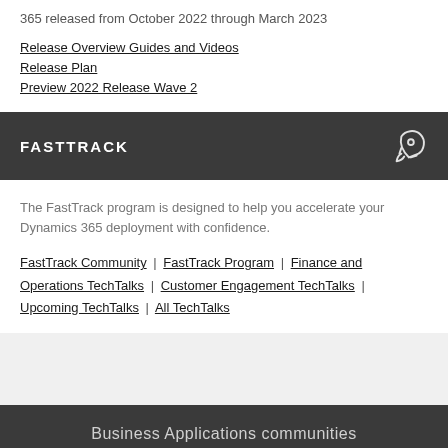365 released from October 2022 through March 2023
Release Overview Guides and Videos
Release Plan
Preview 2022 Release Wave 2
FASTTRACK
The FastTrack program is designed to help you accelerate your Dynamics 365 deployment with confidence.
FastTrack Community | FastTrack Program | Finance and Operations TechTalks | Customer Engagement TechTalks | Upcoming TechTalks | All TechTalks
Business Applications communities